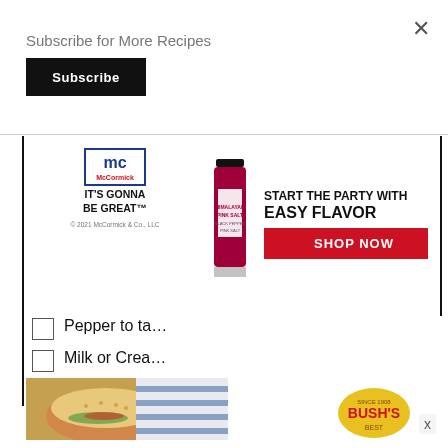Subscribe for More Recipes
Subscribe
[Figure (infographic): McCormick advertisement banner: McCormick logo, spice bottle, tagline 'IT'S GONNA BE GREAT', 'START THE PARTY WITH EASY FLAVOR' headline, red 'SHOP NOW' button, copyright '© 2021 McCormick & Co., LLC']
Pepper to ta…
Milk or Crea…
Coriander le… finely
[Figure (photo): Food photo showing burgers/sandwiches on a plate with blue striped cloth]
[Figure (logo): Bush's beans logo (yellow and red)]